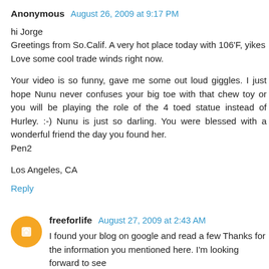Anonymous  August 26, 2009 at 9:17 PM
hi Jorge
Greetings from So.Calif. A very hot place today with 106'F, yikes
Love some cool trade winds right now.

Your video is so funny, gave me some out loud giggles. I just hope Nunu never confuses your big toe with that chew toy or you will be playing the role of the 4 toed statue instead of Hurley. :-) Nunu is just so darling. You were blessed with a wonderful friend the day you found her.
Pen2

Los Angeles, CA
Reply
freeforlife  August 27, 2009 at 2:43 AM
I found your blog on google and read a few Thanks for the information you mentioned here. I'm looking forward to see